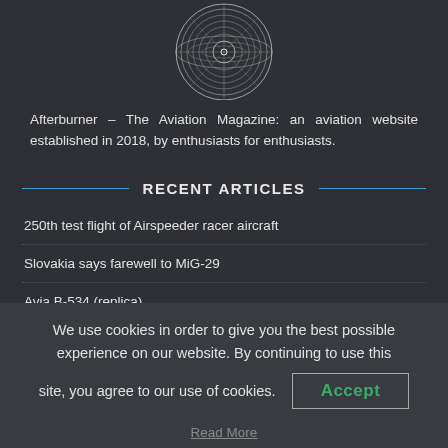[Figure (logo): Circular wireframe turbine/engine logo in white on dark background]
Afterburner – The Aviation Magazine: an aviation website established in 2018, by enthusiasts for enthusiasts.
RECENT ARTICLES
250th test flight of Airspeeder racer aircraft
Slovakia says farewell to MiG-29
Avia B-534 (replica)
We use cookies in order to give you the best possible experience on our website. By continuing to use this site, you agree to our use of cookies.
Accept
Read More